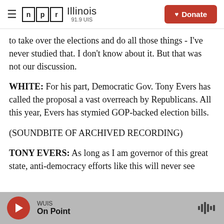NPR Illinois 91.9 UIS — Donate
to take over the elections and do all those things - I've never studied that. I don't know about it. But that was not our discussion.
WHITE: For his part, Democratic Gov. Tony Evers has called the proposal a vast overreach by Republicans. All this year, Evers has stymied GOP-backed election bills.
(SOUNDBITE OF ARCHIVED RECORDING)
TONY EVERS: As long as I am governor of this great state, anti-democracy efforts like this will never see
WUIS — On Point